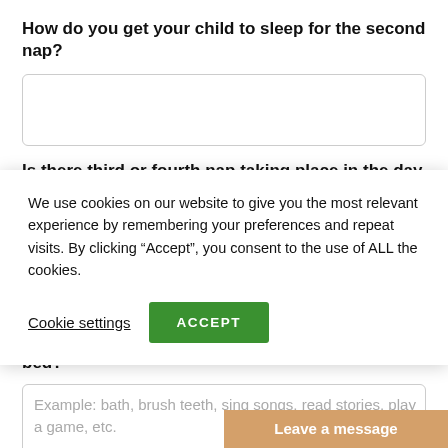How do you get your child to sleep for the second nap?
[Figure (other): Empty text input box for answering the second nap question]
Is there third or fourth nap taking place in the day or
We use cookies on our website to give you the most relevant experience by remembering your preferences and repeat visits. By clicking “Accept”, you consent to the use of ALL the cookies.
Cookie settings  ACCEPT
What do you do when getting them ready for bed?
Example: bath, brush teeth, sing songs, read stories, play a game, etc.
Leave a message